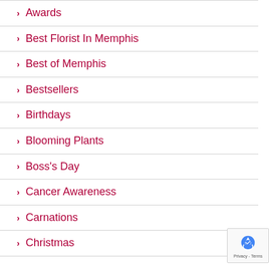Awards
Best Florist In Memphis
Best of Memphis
Bestsellers
Birthdays
Blooming Plants
Boss's Day
Cancer Awareness
Carnations
Christmas